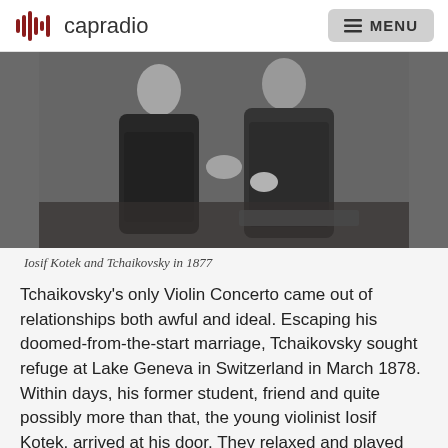capradio   MENU
[Figure (photo): Black and white photograph of Iosif Kotek and Tchaikovsky in 1877, two men in dark coats standing together]
Iosif Kotek and Tchaikovsky in 1877
Tchaikovsky's only Violin Concerto came out of relationships both awful and ideal. Escaping his doomed-from-the-start marriage, Tchaikovsky sought refuge at Lake Geneva in Switzerland in March 1878. Within days, his former student, friend and quite possibly more than that, the young violinist Iosif Kotek, arrived at his door. They relaxed and played music together, and Tchaikovsky immediately conceived of writing a violin concerto. Reliance on Kotek's technical...